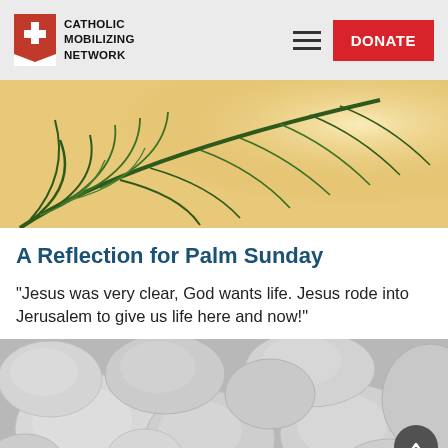Catholic Mobilizing Network | DONATE
[Figure (photo): Palm leaf on a golden/wooden background, representing Palm Sunday]
A Reflection for Palm Sunday
"Jesus was very clear, God wants life. Jesus rode into Jerusalem to give us life here and now!"
[Figure (photo): Collection of smooth white/grey river stones or pebbles, close-up shot]